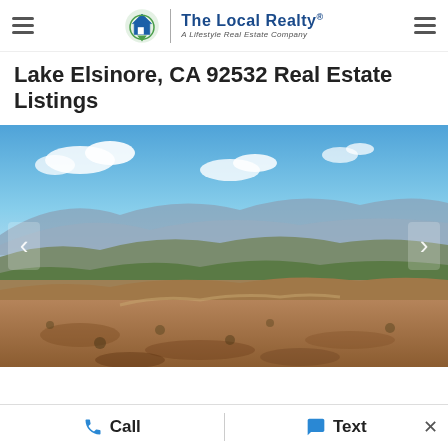The Local Realty® — A Lifestyle Real Estate Company
Lake Elsinore, CA 92532 Real Estate Listings
[Figure (photo): Aerial landscape photo of Lake Elsinore area showing dry brown hills, scrubland, patches of green trees, and mountains in the background under a blue sky with white clouds. Navigation arrows on left and right sides.]
Call | Text